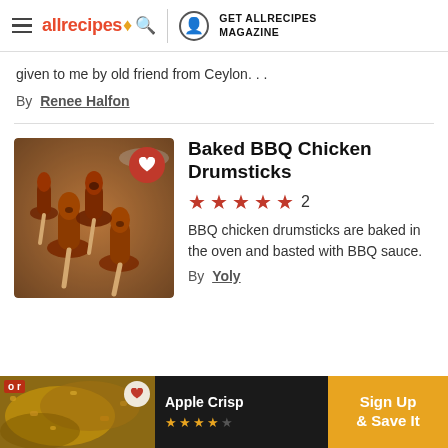allrecipes | GET ALLRECIPES MAGAZINE
given to me by old friend from Ceylon....
By Renee Halfon
Baked BBQ Chicken Drumsticks
★★★★★ 2
BBQ chicken drumsticks are baked in the oven and basted with BBQ sauce.
By Yoly
[Figure (photo): Baked BBQ chicken drumsticks on a foil-lined tray with red heart button overlay]
[Figure (screenshot): Ad banner: Apple Crisp recipe with Sign Up & Save It button]